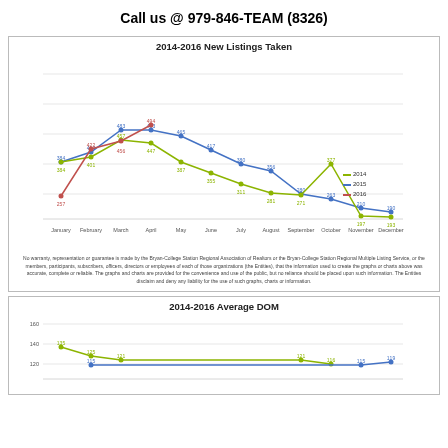Call us @ 979-846-TEAM (8326)
[Figure (line-chart): 2014-2016 New Listings Taken]
No warranty, representation or guarantee is made by the Bryan-College Station Regional Association of Realtors or the Bryan-College Station Regional Multiple Listing Service, or the members, participants, subscribers, officers, directors or employees of each of those organizations (the Entities), that the information used to create the graphs or charts above was accurate, complete or reliable. The graphs and charts are provided for the convenience and use of the public, but no reliance should be placed upon such information. The Entities disclaim and deny any liability for the use of such graphs, charts or information.
[Figure (line-chart): 2014-2016 Average DOM]